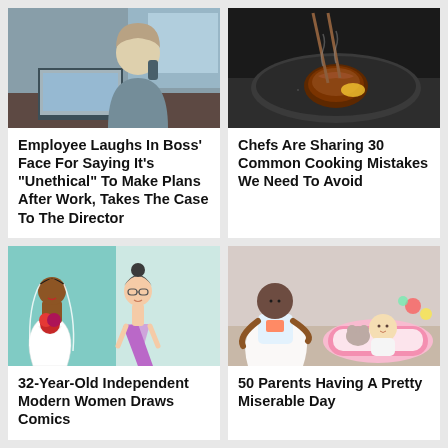[Figure (photo): Woman in grey blazer looking stressed at laptop, talking on phone, office window background]
Employee Laughs In Boss' Face For Saying It's "Unethical" To Make Plans After Work, Takes The Case To The Director
[Figure (photo): Steak or meat being cooked in a black pan with chopsticks, close-up food photography]
Chefs Are Sharing 30 Common Cooking Mistakes We Need To Avoid
[Figure (illustration): Two illustrated women: one in a wedding dress with veil and bouquet, one in a casual purple t-shirt and glasses]
32-Year-Old Independent Modern Women Draws Comics
[Figure (photo): Young child leaning over a baby lying in a bouncer seat, with a stuffed animal]
50 Parents Having A Pretty Miserable Day